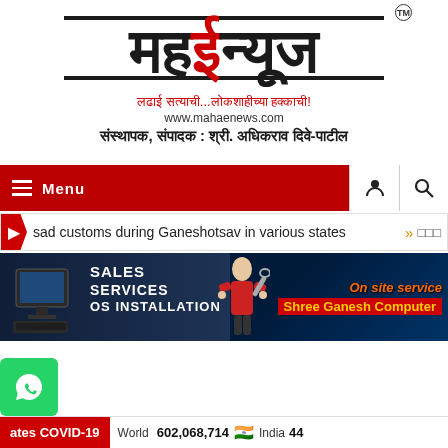[Figure (logo): MahaENews logo with Devanagari script text in black and red, TM symbol, tagline in red Devanagari, website URL, and editor name in Devanagari]
लढाई सत्याची...लोकशाहीच्या हक्काची!
www.mahaenews.com
संस्थापक, संपादक : श्री. अधिकराव दिवे-पाटील
[Figure (screenshot): Navigation bar with red Menu button with hamburger icon, person icon and search icon on right]
sad customs during Ganeshotsav in various states  »  □□□
[Figure (photo): Advertisement banner for Shree Ganesh Computer with SALES SERVICES OS INSTALLATION text, On site service text in orange, Shree Ganesh Computer in yellow on red background, computer and technician figure illustration on dark blue background]
ates COVID-19   World  602,068,714  🇮🇳  India  44